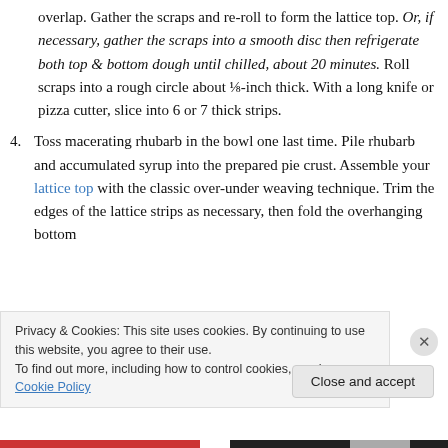overlap. Gather the scraps and re-roll to form the lattice top. Or, if necessary, gather the scraps into a smooth disc then refrigerate both top & bottom dough until chilled, about 20 minutes. Roll scraps into a rough circle about ⅛-inch thick. With a long knife or pizza cutter, slice into 6 or 7 thick strips.
4. Toss macerating rhubarb in the bowl one last time. Pile rhubarb and accumulated syrup into the prepared pie crust. Assemble your lattice top with the classic over-under weaving technique. Trim the edges of the lattice strips as necessary, then fold the overhanging bottom...
Privacy & Cookies: This site uses cookies. By continuing to use this website, you agree to their use.
To find out more, including how to control cookies, see here: Cookie Policy
Close and accept